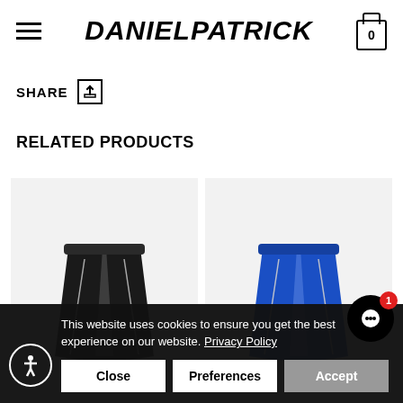DANIELPATRICK
SHARE
RELATED PRODUCTS
[Figure (photo): Black athletic shorts with white side stripes]
[Figure (photo): Blue athletic shorts with white side stripes]
This website uses cookies to ensure you get the best experience on our website. Privacy Policy
Close | Preferences | Accept